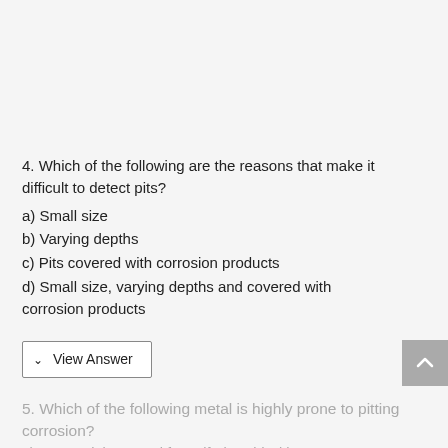4. Which of the following are the reasons that make it difficult to detect pits?
a) Small size
b) Varying depths
c) Pits covered with corrosion products
d) Small size, varying depths and covered with corrosion products
View Answer
5. Which of the following metal is highly prone to pitting corrosion?
a) 18-8 stainless steel for sulfuric acid with Fe content